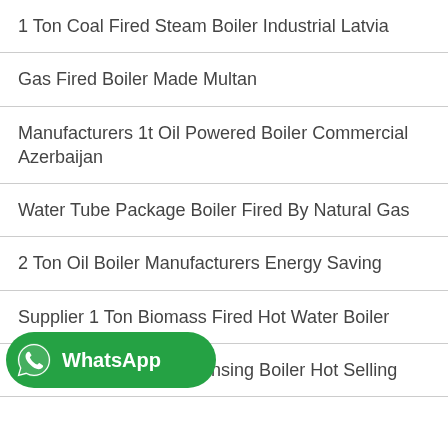1 Ton Coal Fired Steam Boiler Industrial Latvia
Gas Fired Boiler Made Multan
Manufacturers 1t Oil Powered Boiler Commercial Azerbaijan
Water Tube Package Boiler Fired By Natural Gas
2 Ton Oil Boiler Manufacturers Energy Saving
Supplier 1 Ton Biomass Fired Hot Water Boiler
6t Biomass Fired Condensing Boiler Hot Selling
[Figure (logo): WhatsApp button with green background and WhatsApp logo]
0 7mw-70mw top class brown coal hot water boiler